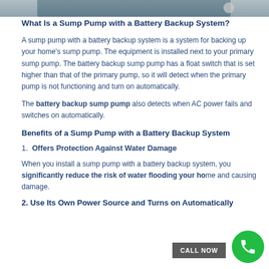[Figure (photo): Top strip photo of a sump pump or related equipment]
What Is a Sump Pump with a Battery Backup System?
A sump pump with a battery backup system is a system for backing up your home's sump pump. The equipment is installed next to your primary sump pump. The battery backup sump pump has a float switch that is set higher than that of the primary pump, so it will detect when the primary pump is not functioning and turn on automatically.
The battery backup sump pump also detects when AC power fails and switches on automatically.
Benefits of a Sump Pump with a Battery Backup System
1. Offers Protection Against Water Damage
When you install a sump pump with a battery backup system, you significantly reduce the risk of water flooding your home and causing damage.
2. Use Its Own Power Source and Turns on Automatically